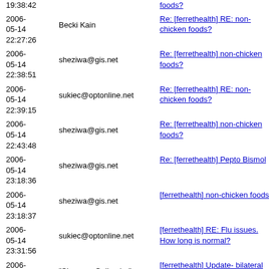| Date | Sender | Subject | Flag |
| --- | --- | --- | --- |
| 19:38:42 |  | foods? | SG |
| 2006-05-14 22:27:26 | Becki Kain | Re: [ferrethealth] RE: non-chicken foods? | SG |
| 2006-05-14 22:38:51 | sheziwa@gis.net | Re: [ferrethealth] non-chicken foods? | SG |
| 2006-05-14 22:39:15 | sukiec@optonline.net | Re: [ferrethealth] RE: non-chicken foods? | SG |
| 2006-05-14 22:43:48 | sheziwa@gis.net | Re: [ferrethealth] non-chicken foods? | SG |
| 2006-05-14 23:18:36 | sheziwa@gis.net | Re: [ferrethealth] Pepto Bismol | SG |
| 2006-05-14 23:18:37 | sheziwa@gis.net | [ferrethealth] non-chicken foods | SG |
| 2006-05-14 23:31:56 | sukiec@optonline.net | [ferrethealth] RE: Flu issues. How long is normal? | SG |
| 2006-05-14 23:48:15 | "Shannon Guiboche" | [ferrethealth] Update- bilateral adrenalectomy | SG |
| 2006-05-1X |  | Re: [ferrethealth] |  |